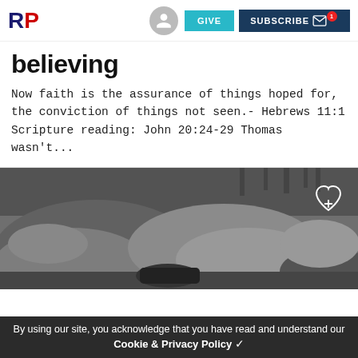RP | GIVE | SUBSCRIBE
believing
Now faith is the assurance of things hoped for, the conviction of things not seen.- Hebrews 11:1 Scripture reading: John 20:24-29 Thomas wasn't...
[Figure (photo): Black and white photograph of large rocks or boulders in an outdoor setting with trees in the background and a heart with plus icon overlay]
By using our site, you acknowledge that you have read and understand our Cookie & Privacy Policy ✓